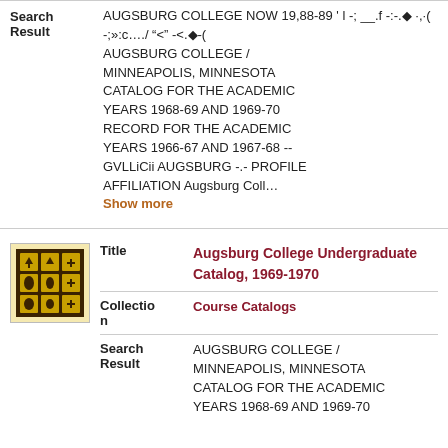| Field | Value |
| --- | --- |
| Search Result | AUGSBURG COLLEGE NOW 19,88-89 ' l -; __.f -:-.◆ ·,·( -;::c..../ "<" -<.◆-( AUGSBURG COLLEGE / MINNEAPOLIS, MINNESOTA CATALOG FOR THE ACADEMIC YEARS 1968-69 AND 1969-70 RECORD FOR THE ACADEMIC YEARS 1966-67 AND 1967-68 -- GVLLiCii AUGSBURG -.- PROFILE AFFILIATION Augsburg Coll... Show more |
[Figure (illustration): Thumbnail image of Augsburg College Undergraduate Catalog 1969-1970, showing a dark brown/black cover with gold grid of icons including trees, leaves, and crosses]
| Field | Value |
| --- | --- |
| Title | Augsburg College Undergraduate Catalog, 1969-1970 |
| Collection | Course Catalogs |
| Search Result | AUGSBURG COLLEGE / MINNEAPOLIS, MINNESOTA CATALOG FOR THE ACADEMIC YEARS 1968-69 AND 1969-70 |